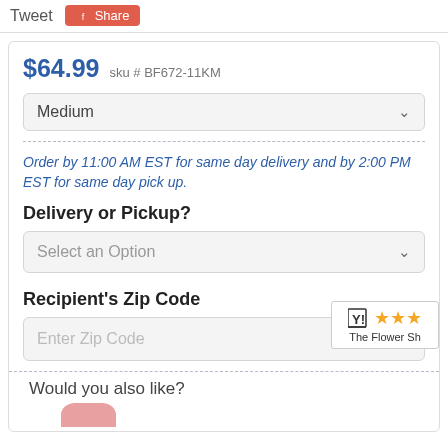Tweet   Share
$64.99  sku # BF672-11KM
Medium
Order by 11:00 AM EST for same day delivery and by 2:00 PM EST for same day pick up.
Delivery or Pickup?
Select an Option
Recipient's Zip Code
Enter Zip Code
The Flower Sh
Would you also like?